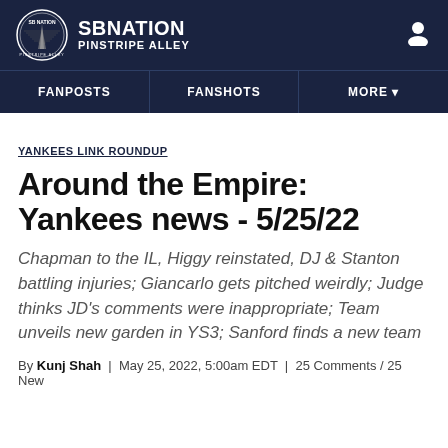SB NATION PINSTRIPE ALLEY
FANPOSTS | FANSHOTS | MORE
YANKEES LINK ROUNDUP
Around the Empire: Yankees news - 5/25/22
Chapman to the IL, Higgy reinstated, DJ & Stanton battling injuries; Giancarlo gets pitched weirdly; Judge thinks JD's comments were inappropriate; Team unveils new garden in YS3; Sanford finds a new team
By Kunj Shah | May 25, 2022, 5:00am EDT | 25 Comments / 25 New